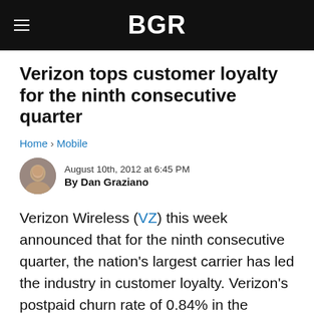BGR
Verizon tops customer loyalty for the ninth consecutive quarter
Home › Mobile
August 10th, 2012 at 6:45 PM
By Dan Graziano
Verizon Wireless (VZ) this week announced that for the ninth consecutive quarter, the nation's largest carrier has led the industry in customer loyalty. Verizon's postpaid churn rate of 0.84% in the second quarter of 2012 was the lowest customer turnover rate among all of the nation's major wireless providers. The three